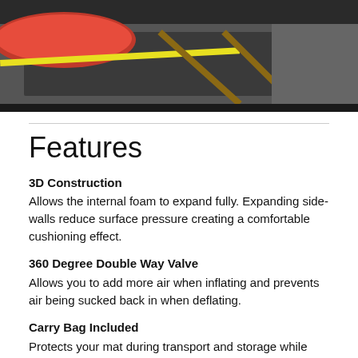[Figure (photo): Photo of a camping/sleeping mat with red pillow/cushion and yellow strap on a dark frame, outdoors setting]
Features
3D Construction
Allows the internal foam to expand fully. Expanding side-walls reduce surface pressure creating a comfortable cushioning effect.
360 Degree Double Way Valve
Allows you to add more air when inflating and prevents air being sucked back in when deflating.
Carry Bag Included
Protects your mat during transport and storage while keeping everything neat and organized. Features a carry handle for convenience. Carry bag is closed securely using a draw string and toggle.
Compression Storage Straps
2x adjustable straps included to secure your rolled mat, making it